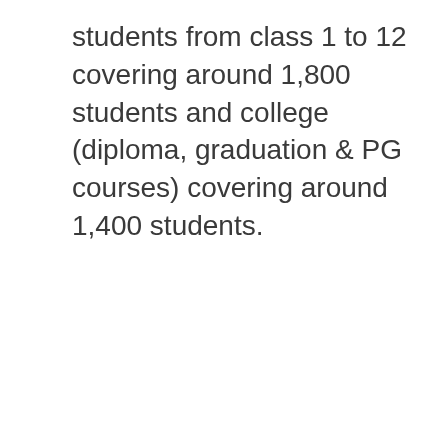students from class 1 to 12 covering around 1,800 students and college (diploma, graduation & PG courses) covering around 1,400 students.